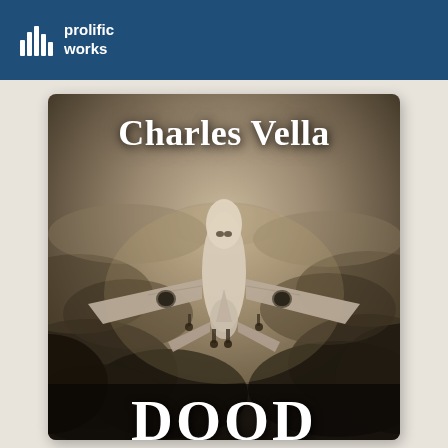[Figure (logo): Prolific Works logo with bar chart icon in white on dark blue background]
[Figure (photo): Book cover for 'Charles Vella' showing a large commercial airplane viewed from below flying against a dramatic stormy sepia-toned sky. The author name 'Charles Vella' appears at the top in large bold white serif font. A partially visible large bold title text appears at the bottom, cut off by the page edge.]